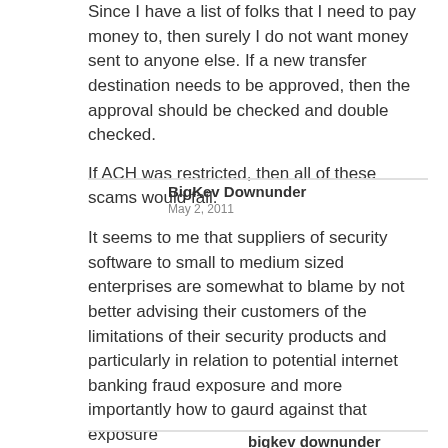Since I have a list of folks that I need to pay money to, then surely I do not want money sent to anyone else. If a new transfer destination needs to be approved, then the approval should be checked and double checked.

If ACH was restricted, then all of these scams would fail.
BigKev Downunder
May 2, 2011
It seems to me that suppliers of security software to small to medium sized enterprises are somewhat to blame by not better advising their customers of the limitations of their security products and particularly in relation to potential internet banking fraud exposure and more importantly how to gaurd against that exposure
bigkev downunder